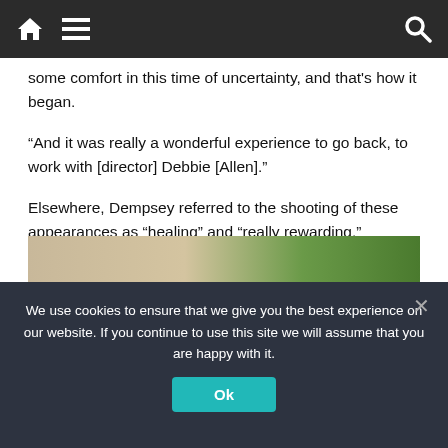Navigation bar with home, menu, and search icons
some comfort in this time of uncertainty, and that's how it began.
“And it was really a wonderful experience to go back, to work with [director] Debbie [Allen].”
Elsewhere, Dempsey referred to the shooting of these appearances as “healing” and “really rewarding.”
His character remains dead, of course, but Dempsey did hint just over a year ago that he wouldn’t slam the door shut on another cameo.
[Figure (photo): Partial photo visible at bottom of article, showing outdoor scene with green foliage]
We use cookies to ensure that we give you the best experience on our website. If you continue to use this site we will assume that you are happy with it.